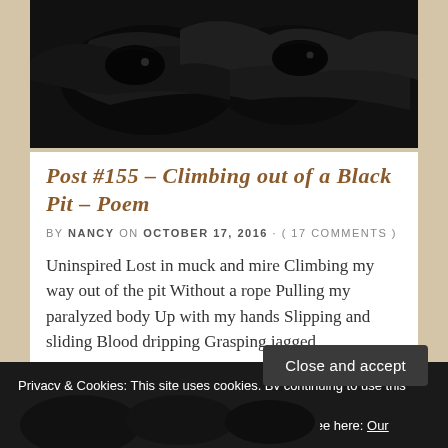[Figure (photo): Dark black and white photo of birds (crows/ravens) against a dark background]
Post #155 – Climbing out of a Black Pit – Poem
BY NANCY ON OCTOBER 17, 2016 · ( 17 COMMENTS )
Uninspired Lost in muck and mire Climbing my way out of the pit Without a rope Pulling my paralyzed body Up with my hands Slipping and sliding Blood dripping Grasping jagged
Privacy & Cookies: This site uses cookies. By continuing to use this website, you agree to their use.
To find out more, including how to control cookies, see here: Our Cookie Policy
Close and accept
[Figure (photo): Dark photo visible at the bottom of the page]